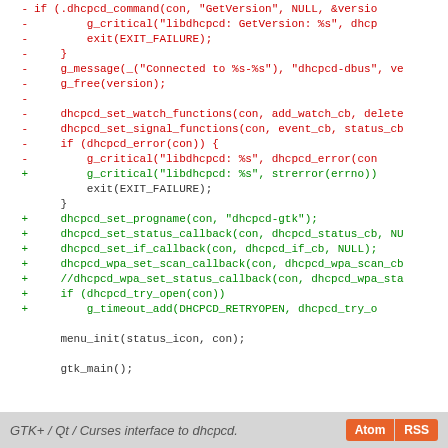[Figure (screenshot): Code diff view showing removed (red) and added (green) lines of C code for dhcpcd-gtk, with a footer bar showing 'GTK+ / Qt / Curses interface to dhcpcd.' and Atom/RSS buttons.]
GTK+ / Qt / Curses interface to dhcpcd.